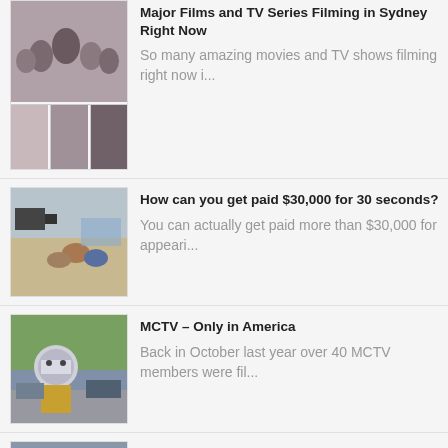[Figure (photo): Collage of film/TV production photos showing groups of people on set]
Major Films and TV Series Filming in Sydney Right Now
So many amazing movies and TV shows filming right now i...
[Figure (photo): TV production set with cameras and people seated in a colorful room]
How can you get paid $30,000 for 30 seconds?
You can actually get paid more than $30,000 for appeari...
[Figure (photo): Person wearing a large space helmet outdoors on a street]
MCTV – Only in America
Back in October last year over 40 MCTV members were fil...
[Figure (photo): Street scene of Kings Cross in the 1980s]
Kings Cross of the '80s Revealed
We have been sending heaps of